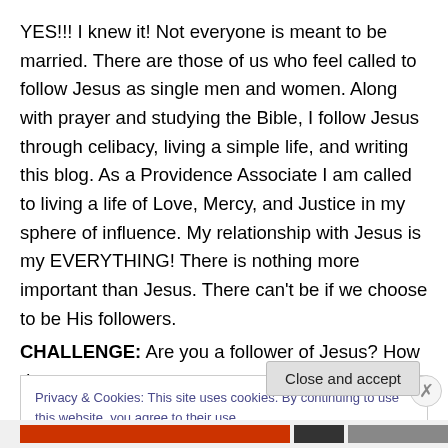YES!!! I knew it! Not everyone is meant to be married. There are those of us who feel called to follow Jesus as single men and women. Along with prayer and studying the Bible, I follow Jesus through celibacy, living a simple life, and writing this blog. As a Providence Associate I am called to living a life of Love, Mercy, and Justice in my sphere of influence. My relationship with Jesus is my EVERYTHING! There is nothing more important than Jesus. There can't be if we choose to be His followers.
CHALLENGE: Are you a follower of Jesus? How do you
Privacy & Cookies: This site uses cookies. By continuing to use this website, you agree to their use.
To find out more, including how to control cookies, see here: Cookie Policy